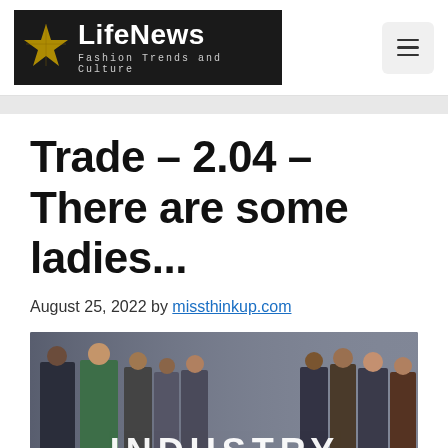[Figure (logo): LifeNews logo — black background with gold star, white bold text 'LifeNews', gray monospaced subtitle 'Fashion Trends and Culture']
[Figure (other): Hamburger menu button — light gray rounded square with three horizontal lines]
Trade – 2.04 – There are some ladies...
August 25, 2022 by missthinkup.com
[Figure (photo): Promotional photo for the TV show 'Industry' — group of cast members in business attire on a gray background with the word INDUSTRY in large letters at the bottom right]